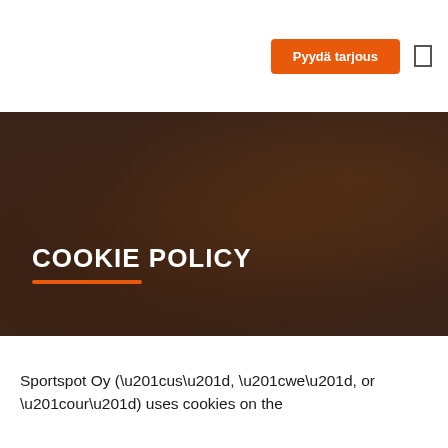Pyydä tarjous
COOKIE POLICY
Sportspot Oy (“us”, “we”, or “our”) uses cookies on the